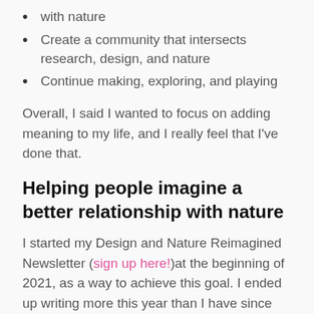with nature
Create a community that intersects research, design, and nature
Continue making, exploring, and playing
Overall, I said I wanted to focus on adding meaning to my life, and I really feel that I've done that.
Helping people imagine a better relationship with nature
I started my Design and Nature Reimagined Newsletter (sign up here!)at the beginning of 2021, as a way to achieve this goal. I ended up writing more this year than I have since college! All told I wrote 23 different posts as email sequences for my newsletter. I wanted to get 52 posts and